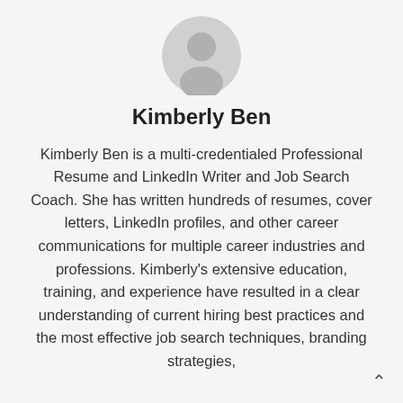[Figure (illustration): Generic user avatar icon — grey silhouette of a person in a circle]
Kimberly Ben
Kimberly Ben is a multi-credentialed Professional Resume and LinkedIn Writer and Job Search Coach. She has written hundreds of resumes, cover letters, LinkedIn profiles, and other career communications for multiple career industries and professions. Kimberly's extensive education, training, and experience have resulted in a clear understanding of current hiring best practices and the most effective job search techniques, branding strategies,